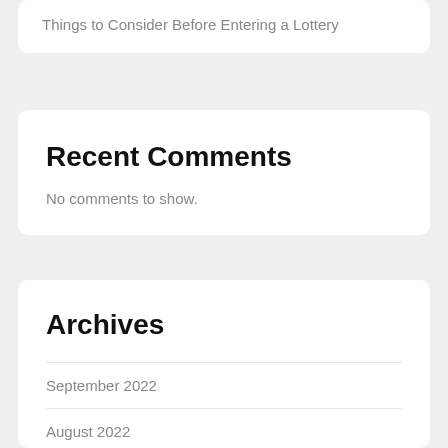Things to Consider Before Entering a Lottery
Recent Comments
No comments to show.
Archives
September 2022
August 2022
July 2022